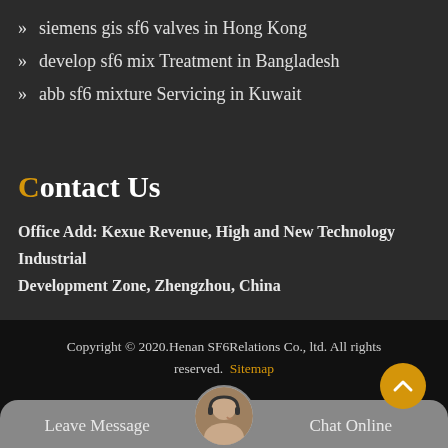siemens gis sf6 valves in Hong Kong
develop sf6 mix Treatment in Bangladesh
abb sf6 mixture Servicing in Kuwait
Contact Us
Office Add: Kexue Revenue, High and New Technology Industrial Development Zone, Zhengzhou, China
Copyright © 2020.Henan SF6Relations Co., ltd. All rights reserved. Sitemap
Leave Message
Chat Online